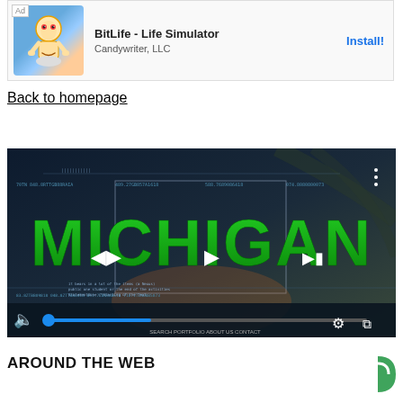[Figure (screenshot): Mobile ad banner for BitLife - Life Simulator by Candywriter, LLC with Install button]
Back to homepage
[Figure (screenshot): A dark-themed video player screenshot showing the word MICHIGAN in large green letters with media controls, search, portfolio, about us, contact navigation]
AROUND THE WEB